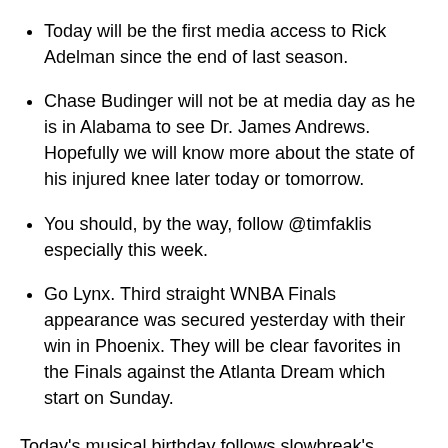Today will be the first media access to Rick Adelman since the end of last season.
Chase Budinger will not be at media day as he is in Alabama to see Dr. James Andrews. Hopefully we will know more about the state of his injured knee later today or tomorrow.
You should, by the way, follow @timfaklis especially this week.
Go Lynx. Third straight WNBA Finals appearance was secured yesterday with their win in Phoenix. They will be clear favorites in the Finals against the Atlanta Dream which start on Sunday.
Today's musical birthday follows slowbreak's theme of musicians who died early. Frankie Lymon was born on this date in 1942. He died of a heroin overdose in 1968.